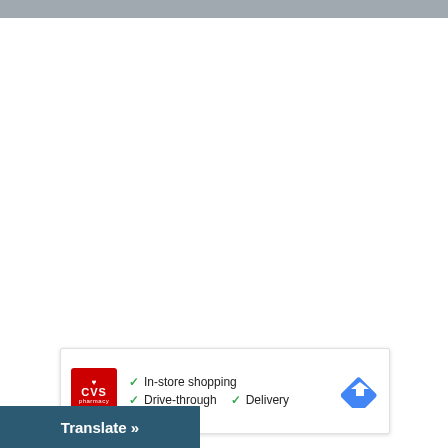[Figure (screenshot): Google Maps style map view showing a mostly white/blank map area]
[Figure (infographic): CVS Pharmacy store card showing logo with checkmarks for In-store shopping, Drive-through, and Delivery, plus a blue navigation arrow icon]
In-store shopping
Drive-through
Delivery
Translate »